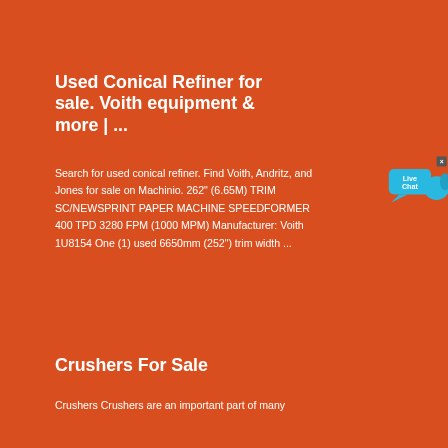Used Conical Refiner for sale. Voith equipment & more | ...
Search for used conical refiner. Find Voith, Andritz, and Jones for sale on Machinio. 262" (6.65M) TRIM SC/NEWSPRINT PAPER MACHINE SPEEDFORMER 400 TPD 3280 FPM (1000 MPM) Manufacturer: Voith 1U8154 One (1) used 6650mm (252") trim width ...
Crushers For Sale
Crushers Crushers are an important part of many